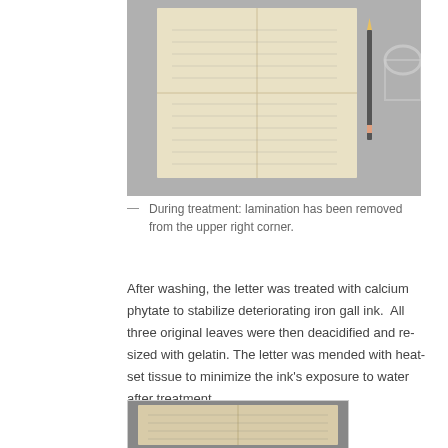[Figure (photo): Old handwritten letter/document with visible fold lines, placed on a gray surface with a pencil resting beside it. Lamination partially visible.]
— During treatment: lamination has been removed from the upper right corner.
After washing, the letter was treated with calcium phytate to stabilize deteriorating iron gall ink.  All three original leaves were then deacidified and re-sized with gelatin. The letter was mended with heat-set tissue to minimize the ink's exposure to water after treatment.
[Figure (photo): Bottom partial photo showing an old handwritten letter/document with visible fold lines, framed in a light border.]